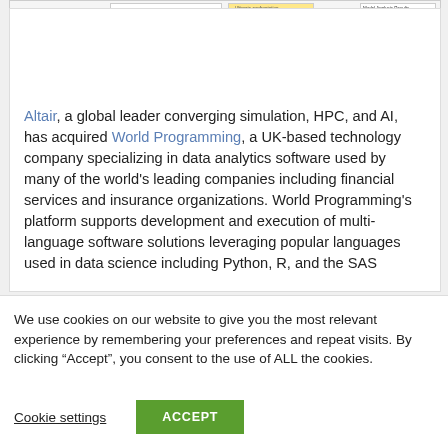[Figure (screenshot): Screenshot of a software interface showing a panel with items like 'Model Training' and 'Tuning', a yellow sticky note area, and a toolbar bar at the bottom with labels like 'Model/ML Support', 'Default Server Load Balancer', 'Community Server', and a version number.]
Altair, a global leader converging simulation, HPC, and AI, has acquired World Programming, a UK-based technology company specializing in data analytics software used by many of the world's leading companies including financial services and insurance organizations. World Programming's platform supports development and execution of multi-language software solutions leveraging popular languages used in data science including Python, R, and the SAS
We use cookies on our website to give you the most relevant experience by remembering your preferences and repeat visits. By clicking “Accept”, you consent to the use of ALL the cookies.
Cookie settings
ACCEPT